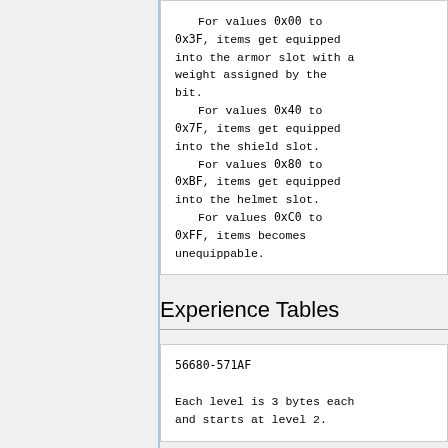For values 0x00 to 0x3F, items get equipped into the armor slot with a weight assigned by the bit.
    For values 0x40 to 0x7F, items get equipped into the shield slot.
    For values 0x80 to 0xBF, items get equipped into the helmet slot.
    For values 0xC0 to 0xFF, items becomes unequippable.
Experience Tables
56680-571AF

Each level is 3 bytes each and starts at level 2.